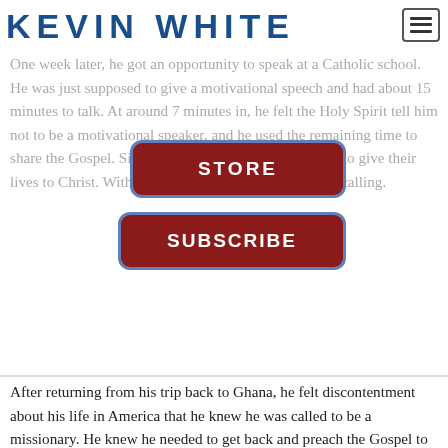KEVIN WHITE
One week later, he got an opportunity to speak at a Catholic school. He was just supposed to give a motivational speech and had about 15 minutes to talk. At around 7 minutes in, he felt the Holy Spirit tell him not to be a motivational speaker, and he used the remaining time to share the Gospel. Six hundred eighty students decided to give their lives to Christ. With that, he realized he had found his calling.
After returning from his trip back to Ghana, he felt discontentment about his life in America that he knew he was called to be a missionary. He knew he needed to get back and preach the Gospel to students who were living just like he was living before Jesus changed his life.
After years of ministry in Ghana, this one man who came to the US and received the Gospel has gone back to his home country of Ghana and the seed that was planted in him has produced over 60,000 people in Ghana calling Jesus Lord.
But after seeing so many decisions, he felt like God was calling him to get involved in discipleship. For many, the decision to follow is easy, but discipleship is a harder